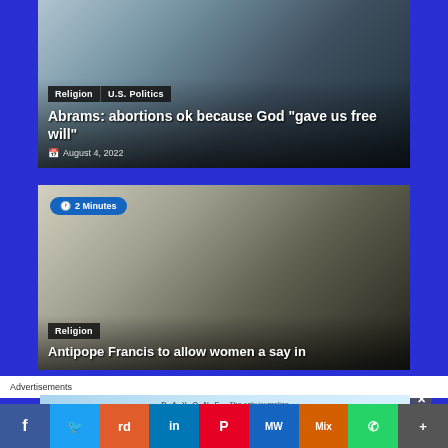[Figure (photo): Woman in light blue jacket at podium with microphones, news photo]
Religion | U.S. Politics
Abrams: abortions ok because God “gave us free will”
August 4, 2022
[Figure (photo): People in white religious robes at outdoor ceremony]
2 Minutes
Religion
Antipope Francis to allow women a say in...
Advertisements
DAY ONE  The only journaling
f  Twitter  Reddit  in  P  MW  Mix  WhatsApp  More